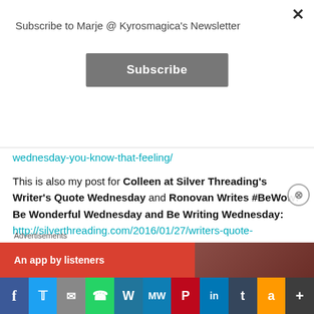Subscribe to Marje @ Kyrosmagica's Newsletter
Subscribe
wednesday-you-know-that-feeling/
This is also my post for Colleen at Silver Threading's Writer's Quote Wednesday and Ronovan Writes #BeWow: Be Wonderful Wednesday and Be Writing Wednesday: http://silverthreading.com/2016/01/27/writers-quote-wednesday-bewow-ian-mcewan/
[Figure (other): Join the banner with blue background and letter A on left]
Advertisements
[Figure (other): An app by listeners advertisement strip on red background]
[Figure (other): Social sharing bar with Facebook, Twitter, Email, WhatsApp, WordPress, MeWe, Pinterest, LinkedIn, Tumblr, Amazon, More icons]